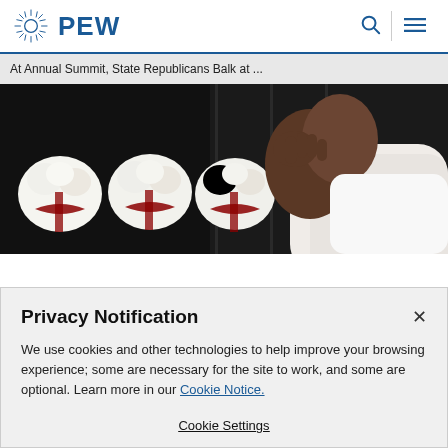PEW
At Annual Summit, State Republicans Balk at ...
[Figure (photo): Person in white shirt grieving near floral arrangements with white flowers and red ribbons against a dark background]
Privacy Notification
We use cookies and other technologies to help improve your browsing experience; some are necessary for the site to work, and some are optional. Learn more in our Cookie Notice.
Cookie Settings